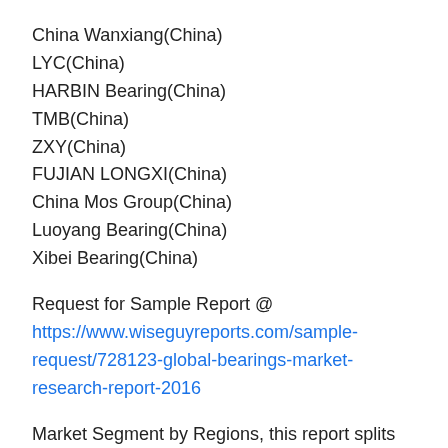China Wanxiang(China)
LYC(China)
HARBIN Bearing(China)
TMB(China)
ZXY(China)
FUJIAN LONGXI(China)
China Mos Group(China)
Luoyang Bearing(China)
Xibei Bearing(China)
Request for Sample Report @ https://www.wiseguyreports.com/sample-request/728123-global-bearings-market-research-report-2016
Market Segment by Regions, this report splits Global into several key Regions, with production